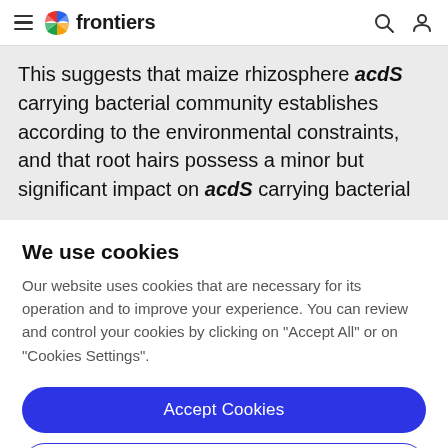frontiers
This suggests that maize rhizosphere acdS carrying bacterial community establishes according to the environmental constraints, and that root hairs possess a minor but significant impact on acdS carrying bacterial
We use cookies
Our website uses cookies that are necessary for its operation and to improve your experience. You can review and control your cookies by clicking on "Accept All" or on "Cookies Settings".
Accept Cookies
Cookies Settings